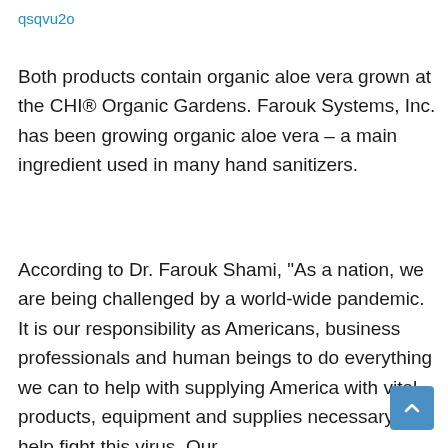qsqvu2o
Both products contain organic aloe vera grown at the CHI® Organic Gardens. Farouk Systems, Inc. has been growing organic aloe vera – a main ingredient used in many hand sanitizers.
According to Dr. Farouk Shami, "As a nation, we are being challenged by a world-wide pandemic. It is our responsibility as Americans, business professionals and human beings to do everything we can to help with supplying America with vital products, equipment and supplies necessary to help fight this virus. Our